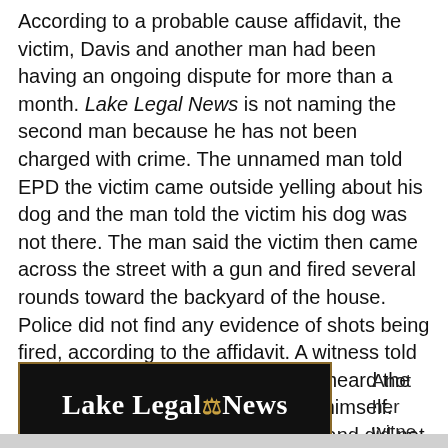According to a probable cause affidavit, the victim, Davis and another man had been having an ongoing dispute for more than a month. Lake Legal News is not naming the second man because he has not been charged with crime. The unnamed man told EPD the victim came outside yelling about his dog and the man told the victim his dog was not there. The man said the victim then came across the street with a gun and fired several rounds toward the backyard of the house. Police did not find any evidence of shots being fired, according to the affidavit. A witness told police he “hit the ground” when he heard the shots and believed the victim shot himself. Police searched the victim’s home and did not find any firearms.
[Figure (logo): Lake Legal News logo — white text on black background with gold border, featuring stylized scales of justice icon]
Another witne